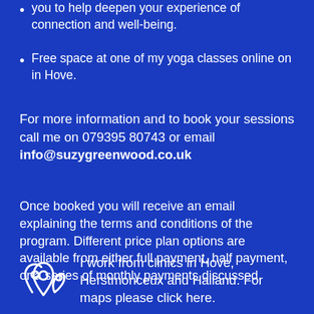you to help deepen your experience of connection and well-being.
Free space at one of my yoga classes online on in Hove.
For more information and to book your sessions call me on 079395 80743 or email info@suzygreenwood.co.uk
Once booked you will receive an email explaining the terms and conditions of the program. Different price plan options are available from either full payment, half payment, or a series of monthly payments discussed.
I work from clinics in Hove, Herstmonceux and Halland. For maps please click here.